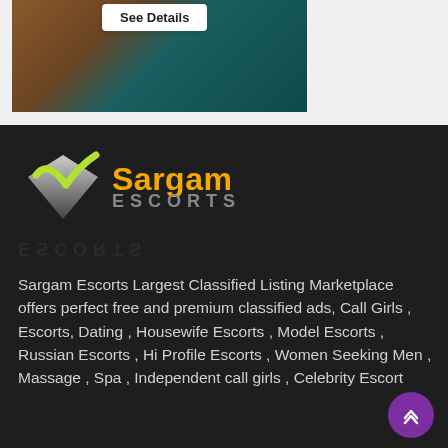[Figure (photo): Partial photo showing brown and teal/dark green background with See Details button overlay]
[Figure (logo): Sargam Escorts logo with checkmark/shield icon in lime green and silver, with Sargam in gold/yellow and ESCORTS in grey letters, with reflection below]
Sargam Escorts Largest Classified Listing Marketplace offers perfect free and premium classified ads, Call Girls , Escorts, Dating , Housewife Escorts , Model Escorts , Russian Escorts , Hi Profile Escorts , Women Seeking Men , Massage , Spa , Independent call girls , Celebrity Escort